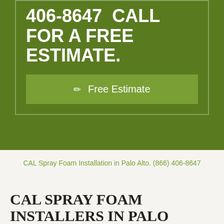(866) 406-8647  CALL FOR A FREE ESTIMATE.
Free Estimate
CAL Spray Foam Installation in Palo Alto. (866) 406-8647
CAL SPRAY FOAM INSTALLERS IN PALO